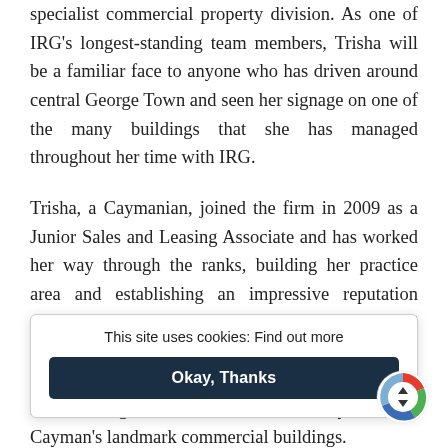specialist commercial property division. As one of IRG's longest-standing team members, Trisha will be a familiar face to anyone who has driven around central George Town and seen her signage on one of the many buildings that she has managed throughout her time with IRG.
Trisha, a Caymanian, joined the firm in 2009 as a Junior Sales and Leasing Associate and has worked her way through the ranks, building her practice area and establishing an impressive reputation within the local real estate market. She has advised on multi-million-dollar asset sales and acquisitions and continues to provide property management, sales, leasing and fit-out services for many of Grand Cayman's landmark commercial buildings.
“I am de[lighted to announce my appoint]ment as the Hea[d of Commercial at IRG. I am tr]uly p[roud]. W[e are] extreme[ly proud of the progress Trisha has made] as ta[ken] during her time with IRG. It is such a pleasure to see